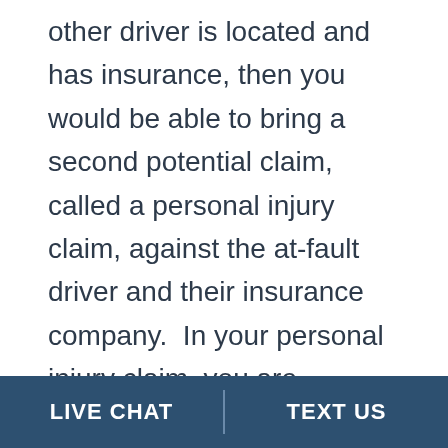other driver is located and has insurance, then you would be able to bring a second potential claim, called a personal injury claim, against the at-fault driver and their insurance company.  In your personal injury claim, you are typically able to recover medical expenses and wage loss not covered by your no-fault claim, as well as compensation for your pain, suffering and emotional distress.  If the other driver could not be located, or is uninsured, instead of a personal injury claim against the at-fault
LIVE CHAT   TEXT US